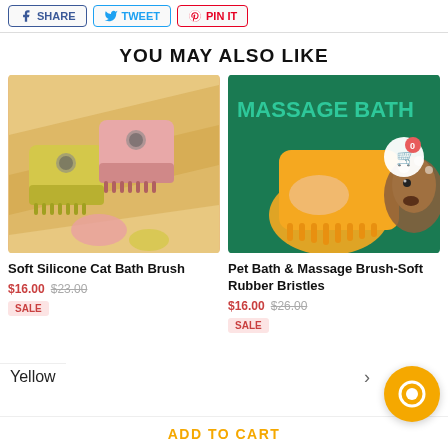SHARE  TWEET  PIN IT
YOU MAY ALSO LIKE
[Figure (photo): Soft silicone cat bath brush in yellow and pink colors on beige background]
Soft Silicone Cat Bath Brush
$16.00  $23.00  SALE
[Figure (photo): Pet bath and massage brush with orange rubber bristles, MASSAGE BATH text, dog in background]
Pet Bath & Massage Brush-Soft Rubber Bristles
$16.00  $26.00  SALE
Yellow
ADD TO CART